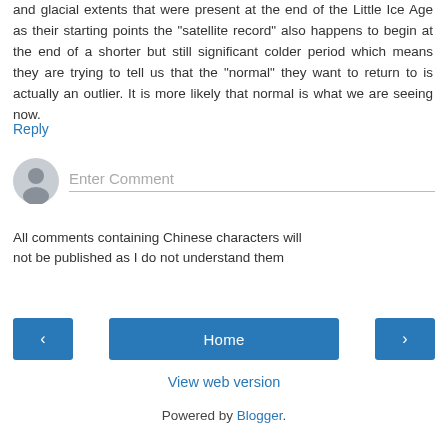and glacial extents that were present at the end of the Little Ice Age as their starting points the "satellite record" also happens to begin at the end of a shorter but still significant colder period which means they are trying to tell us that the "normal" they want to return to is actually an outlier. It is more likely that normal is what we are seeing now.
Reply
[Figure (other): User avatar placeholder icon (gray silhouette) with Enter Comment text input field]
All comments containing Chinese characters will not be published as I do not understand them
[Figure (other): Navigation buttons: left arrow, Home button, right arrow]
View web version
Powered by Blogger.